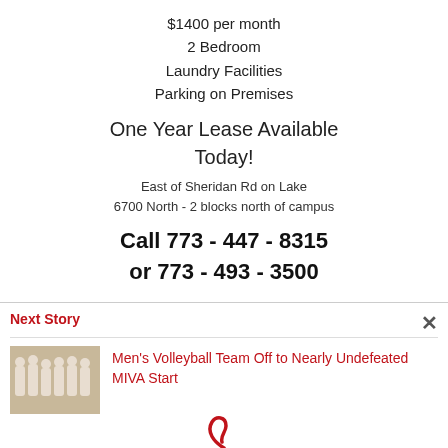$1400 per month
2 Bedroom
Laundry Facilities
Parking on Premises
One Year Lease Available Today!
East of Sheridan Rd on Lake
6700 North - 2 blocks north of campus
Call 773 - 447 - 8315
or 773 - 493 - 3500
Next Story
[Figure (photo): Team photo of men's volleyball players in white uniforms]
Men's Volleyball Team Off to Nearly Undefeated MIVA Start